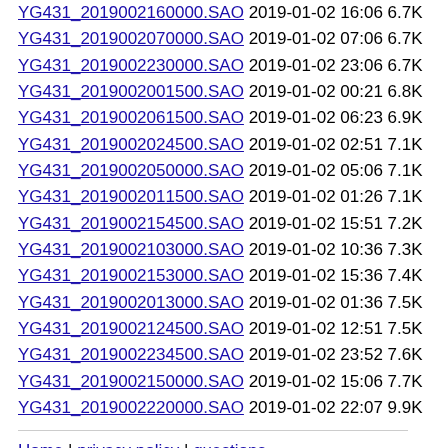YG431_2019002160000.SAO 2019-01-02 16:06 6.7K
YG431_2019002070000.SAO 2019-01-02 07:06 6.7K
YG431_2019002230000.SAO 2019-01-02 23:06 6.7K
YG431_2019002001500.SAO 2019-01-02 00:21 6.8K
YG431_2019002061500.SAO 2019-01-02 06:23 6.9K
YG431_2019002024500.SAO 2019-01-02 02:51 7.1K
YG431_2019002050000.SAO 2019-01-02 05:06 7.1K
YG431_2019002011500.SAO 2019-01-02 01:26 7.1K
YG431_2019002154500.SAO 2019-01-02 15:51 7.2K
YG431_2019002103000.SAO 2019-01-02 10:36 7.3K
YG431_2019002153000.SAO 2019-01-02 15:36 7.4K
YG431_2019002013000.SAO 2019-01-02 01:36 7.5K
YG431_2019002124500.SAO 2019-01-02 12:51 7.5K
YG431_2019002234500.SAO 2019-01-02 23:52 7.6K
YG431_2019002150000.SAO 2019-01-02 15:06 7.7K
YG431_2019002220000.SAO 2019-01-02 22:07 9.9K
Home | privacy policy | questions
Website of the US Department of Commerce / NOAA / NESDIS / Home